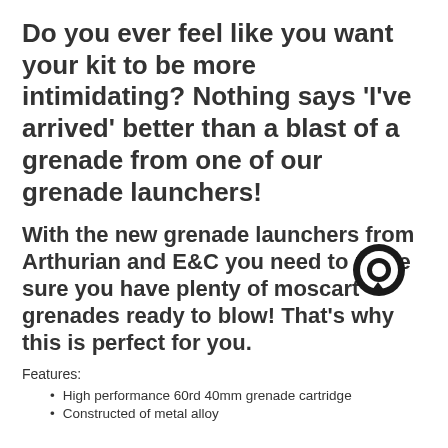Do you ever feel like you want your kit to be more intimidating? Nothing says 'I've arrived' better than a blast of a grenade from one of our grenade launchers!
With the new grenade launchers from Arthurian and E&C you need to make sure you have plenty of moscart grenades ready to blow! That's why this is perfect for you.
Features:
High performance 60rd 40mm grenade cartridge
Constructed of metal alloy